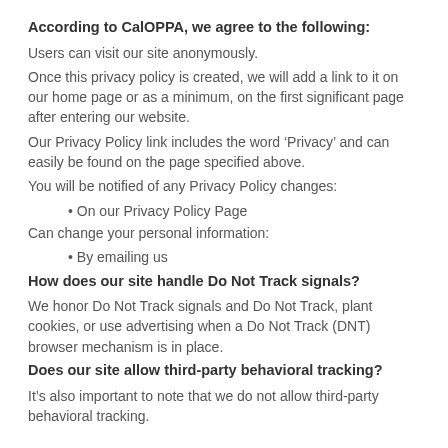According to CalOPPA, we agree to the following:
Users can visit our site anonymously.
Once this privacy policy is created, we will add a link to it on our home page or as a minimum, on the first significant page after entering our website.
Our Privacy Policy link includes the word ‘Privacy’ and can easily be found on the page specified above.
You will be notified of any Privacy Policy changes:
On our Privacy Policy Page
Can change your personal information:
By emailing us
How does our site handle Do Not Track signals?
We honor Do Not Track signals and Do Not Track, plant cookies, or use advertising when a Do Not Track (DNT) browser mechanism is in place.
Does our site allow third-party behavioral tracking?
It’s also important to note that we do not allow third-party behavioral tracking.